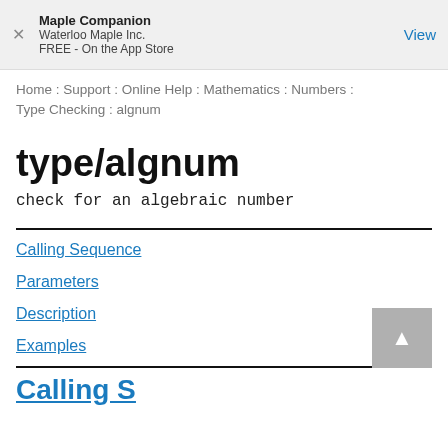Maple Companion
Waterloo Maple Inc.
FREE - On the App Store
Home : Support : Online Help : Mathematics : Numbers : Type Checking : algnum
type/algnum
check for an algebraic number
Calling Sequence
Parameters
Description
Examples
Calling S...